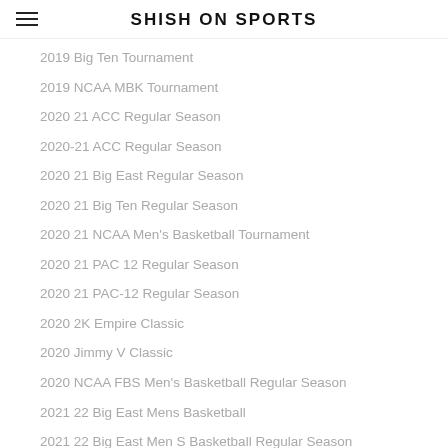SHISH ON SPORTS
2019 Big Ten Tournament
2019 NCAA MBK Tournament
2020 21 ACC Regular Season
2020-21 ACC Regular Season
2020 21 Big East Regular Season
2020 21 Big Ten Regular Season
2020 21 NCAA Men's Basketball Tournament
2020 21 PAC 12 Regular Season
2020 21 PAC-12 Regular Season
2020 2K Empire Classic
2020 Jimmy V Classic
2020 NCAA FBS Men's Basketball Regular Season
2021 22 Big East Mens Basketball
2021 22 Big East Men S Basketball Regular Season
2021 22 Big East Regular Season
2021 22 Big Ten Regular Season
2021 22 NCAA Men's Basketball Regular Season
2021 ACC Big Ten Challenge